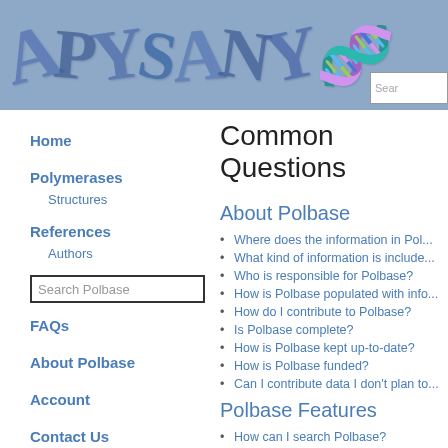[Figure (illustration): Website header banner with blue/gray background showing large stylized blue letters resembling protein structure rendering, with a search box in the top right corner.]
Home
Polymerases
Structures
References
Authors
Search Polbase
FAQs
About Polbase
Account
Contact Us
Common Questions
About Polbase
Where does the information in Pol...
What kind of information is include...
Who is responsible for Polbase?
How is Polbase populated with info...
How do I contribute to Polbase?
Is Polbase complete?
How is Polbase kept up-to-date?
How is Polbase funded?
Can I contribute data I don't plan to...
Polbase Features
How can I search Polbase?
How can I sort through all the da...